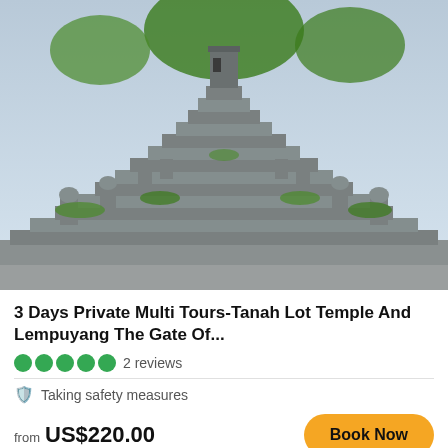[Figure (photo): Balinese Hindu temple with grand stone staircase flanked by ornate stone statues and green vegetation, overcast sky in background]
3 Days Private Multi Tours-Tanah Lot Temple And Lempuyang The Gate Of...
●●●●● 2 reviews
🛡 Taking safety measures
from US$220.00
Book Now
[Figure (photo): Partial view of a second travel listing card showing a coastal or beach scene with blue sky and palm trees]